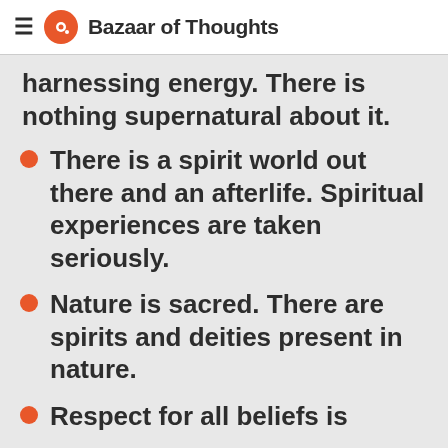Bazaar of Thoughts
harnessing energy. There is nothing supernatural about it.
There is a spirit world out there and an afterlife. Spiritual experiences are taken seriously.
Nature is sacred. There are spirits and deities present in nature.
Respect for all beliefs is